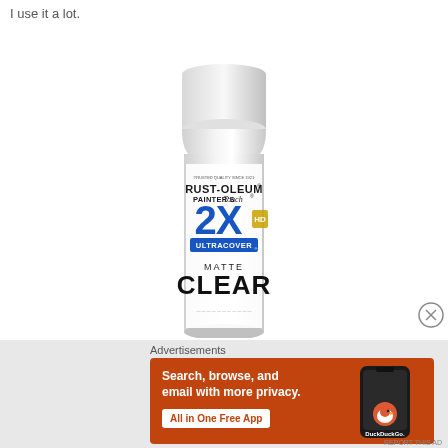I use it a lot.
[Figure (photo): Rust-Oleum Painter's Touch 2X Ultra Cover Matte Clear spray paint can]
[Figure (other): Close/dismiss button (circled X)]
Advertisements
[Figure (other): DuckDuckGo advertisement banner: Search, browse, and email with more privacy. All in One Free App. Shows a smartphone with DuckDuckGo logo.]